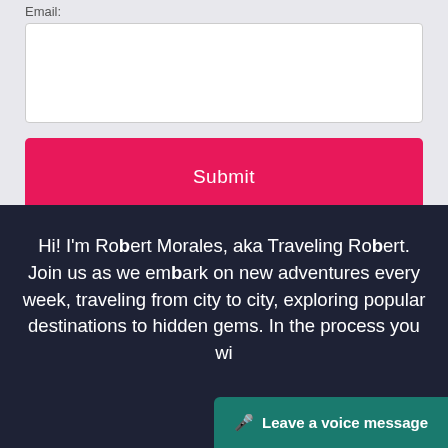Email:
Submit
Hi! I'm Robert Morales, aka Traveling Robert. Join us as we embark on new adventures every week, traveling from city to city, exploring popular destinations to hidden gems. In the process you wi... of safer RV'ing, solar energy options
Leave a voice message